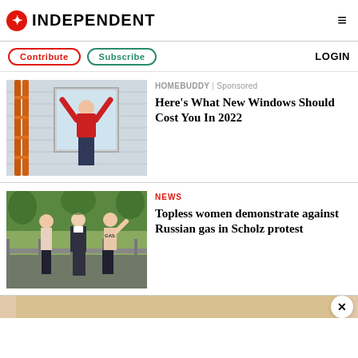INDEPENDENT
Contribute | Subscribe | LOGIN
[Figure (photo): Person installing a window on a house exterior, with orange ladder visible]
HOMEBUDDY | Sponsored
Here's What New Windows Should Cost You In 2022
[Figure (photo): Topless women demonstrating, with a man in a suit, outdoors]
NEWS
Topless women demonstrate against Russian gas in Scholz protest
[Figure (photo): Partial bottom image, partially visible, with close button]